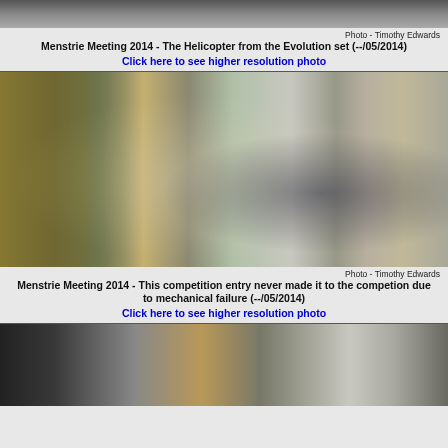[Figure (photo): Top partial photo of a helicopter model from the Evolution set, cropped showing only bottom portion]
Photo - Timothy Edwards
Menstrie Meeting 2014 - The Helicopter from the Evolution set (--/05/2014)
Click here to see higher resolution photo
[Figure (photo): Meccano mechanical competition entry on a table with blue wheels, on white cloth, with yellow grid panel to left. People standing around it.]
Photo - Timothy Edwards
Menstrie Meeting 2014 - This competition entry never made it to the competion due to mechanical failure (--/05/2014)
Click here to see higher resolution photo
[Figure (photo): Bottom partial photo showing people's legs and feet, with a Meccano model partially visible]